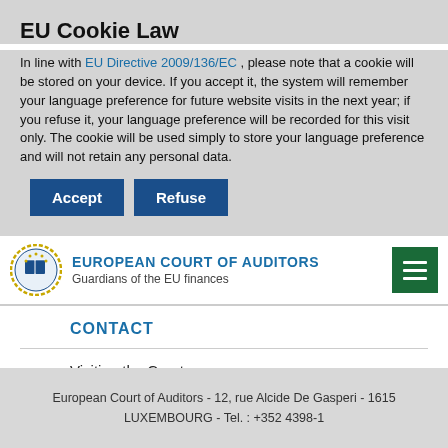EU Cookie Law
In line with EU Directive 2009/136/EC , please note that a cookie will be stored on your device. If you accept it, the system will remember your language preference for future website visits in the next year; if you refuse it, your language preference will be recorded for this visit only. The cookie will be used simply to store your language preference and will not retain any personal data.
Accept | Refuse
EUROPEAN COURT OF AUDITORS - Guardians of the EU finances
CONTACT
Visiting the Court
Video surveillance policy
Contact form
Join our mailing list
European Court of Auditors - 12, rue Alcide De Gasperi - 1615 LUXEMBOURG - Tel. : +352 4398-1